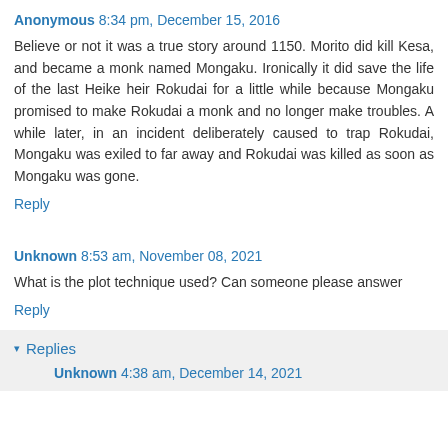Anonymous 8:34 pm, December 15, 2016
Believe or not it was a true story around 1150. Morito did kill Kesa, and became a monk named Mongaku. Ironically it did save the life of the last Heike heir Rokudai for a little while because Mongaku promised to make Rokudai a monk and no longer make troubles. A while later, in an incident deliberately caused to trap Rokudai, Mongaku was exiled to far away and Rokudai was killed as soon as Mongaku was gone.
Reply
Unknown 8:53 am, November 08, 2021
What is the plot technique used? Can someone please answer
Reply
Replies
Unknown 4:38 am, December 14, 2021